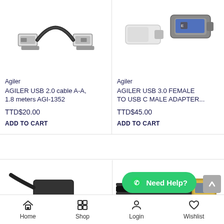[Figure (photo): USB 2.0 A-A cable with two male connectors shown side by side]
Agiler
AGILER USB 2.0 cable A-A, 1.8 meters AGI-1352
TTD$20.00
ADD TO CART
[Figure (photo): USB 3.0 female to USB-C male adapter, silver/grey color shown in two pieces]
Agiler
AGILER USB 3.0 FEMALE TO USB C MALE ADAPTER...
TTD$45.00
ADD TO CART
[Figure (photo): USB to Ethernet adapter, dark grey/black dongle with RJ45 port]
[Figure (photo): USB cable with connector shown close up, black cable]
Home   Shop   Login   Wishlist